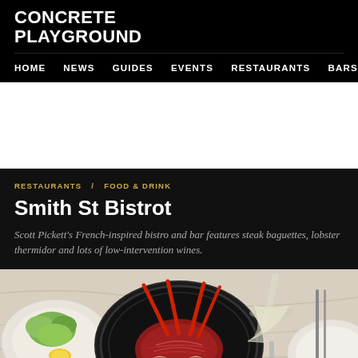CONCRETE PLAYGROUND
HOME  NEWS  GUIDES  EVENTS  RESTAURANTS  BARS  S
[Figure (photo): White advertisement space placeholder]
RESTAURANTS  FOOD & DRINK
Smith St Bistrot
Scott Pickett's French-inspired bistro and bar features steak baguettes, lobster thermidor and lots of low-intervention wines.
[Figure (photo): Food photography showing a lobster thermidor dish on a decorative dark plate, with a salad and wine glass in the background, on a marble surface]
Home  Featured  Nearby  Popular  Latest